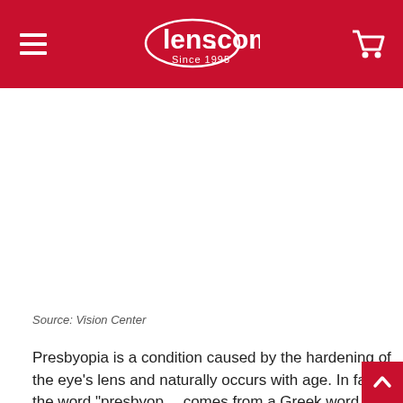lens.com Since 1995
Source: Vision Center
Presbyopia is a condition caused by the hardening of the eye's lens and naturally occurs with age. In fact, the word "presbyop... comes from a Greek word that means "old eye."